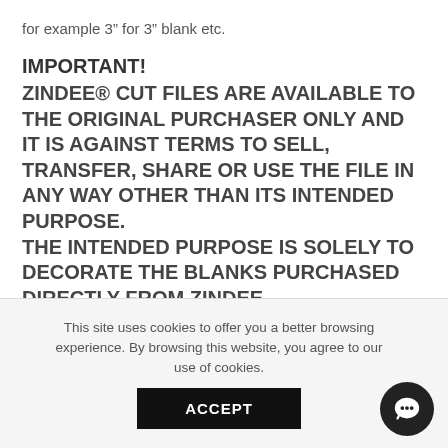for example 3″ for 3″ blank etc.
IMPORTANT!
ZINDEE® CUT FILES ARE AVAILABLE TO THE ORIGINAL PURCHASER ONLY AND IT IS AGAINST TERMS TO SELL, TRANSFER, SHARE OR USE THE FILE IN ANY WAY OTHER THAN ITS INTENDED PURPOSE. THE INTENDED PURPOSE IS SOLELY TO DECORATE THE BLANKS PURCHASED DIRECTLY FROM ZINDEE. YOU MAY SELL THE FINISHED/COMPLETED ACRYLIC ITEMS YOU CREATE WITH ZINDEE FILES AND BLANKS.
This site uses cookies to offer you a better browsing experience. By browsing this website, you agree to our use of cookies.
ACCEPT